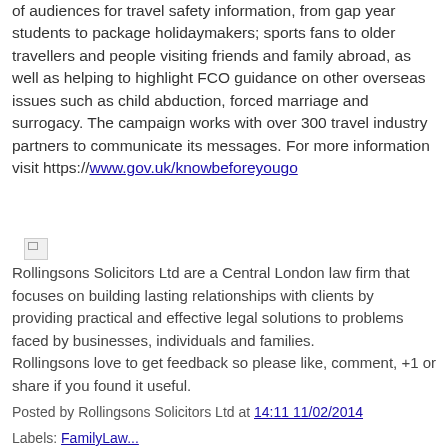of audiences for travel safety information, from gap year students to package holidaymakers; sports fans to older travellers and people visiting friends and family abroad, as well as helping to highlight FCO guidance on other overseas issues such as child abduction, forced marriage and surrogacy. The campaign works with over 300 travel industry partners to communicate its messages. For more information visit https://www.gov.uk/knowbeforeyougo
[Figure (other): Broken image placeholder icon]
Rollingsons Solicitors Ltd are a Central London law firm that focuses on building lasting relationships with clients by providing practical and effective legal solutions to problems faced by businesses, individuals and families.
Rollingsons love to get feedback so please like, comment, +1 or share if you found it useful.
Posted by Rollingsons Solicitors Ltd at 14:11 11/02/2014
Labels: FamilyLaw...